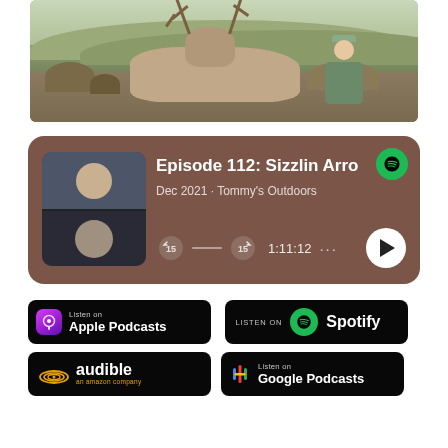[Figure (photo): A hunter in camouflage gear kneeling behind a harvested mule deer with antlers, in an outdoor desert/brush landscape setting.]
[Figure (screenshot): Spotify podcast player card showing Episode 112: Sizzlin Arro (truncated), Dec 2021 - Tommy's Outdoors, with a duration of 1:11:12 and playback controls. Brown/mauve background with two-person thumbnail image.]
[Figure (logo): Listen on Apple Podcasts badge (black background, purple podcast icon)]
[Figure (logo): LISTEN ON Spotify badge (black background, green Spotify logo)]
[Figure (logo): Audible an amazon company badge (black background, orange Audible logo)]
[Figure (logo): Listen on Google Podcasts badge (black background, colorful Google Podcasts icon)]